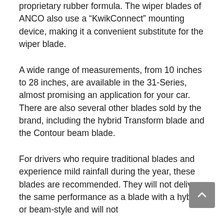proprietary rubber formula. The wiper blades of ANCO also use a “KwikConnect” mounting device, making it a convenient substitute for the wiper blade.
A wide range of measurements, from 10 inches to 28 inches, are available in the 31-Series, almost promising an application for your car. There are also several other blades sold by the brand, including the hybrid Transform blade and the Contour beam blade.
For drivers who require traditional blades and experience mild rainfall during the year, these blades are recommended. They will not deliver the same performance as a blade with a hybrid or beam-style and will not